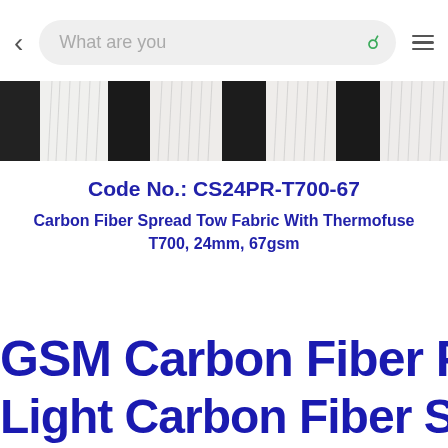What are you [search bar with back arrow and menu icon]
[Figure (photo): Carbon fiber spread tow fabric showing alternating black carbon fiber bands and white/light spread tow sections in a woven pattern]
Code No.: CS24PR-T700-67
Carbon Fiber Spread Tow Fabric With Thermofuse T700, 24mm, 67gsm
GSM Carbon Fiber Fabric Toray
Light Carbon Fiber Spread T...